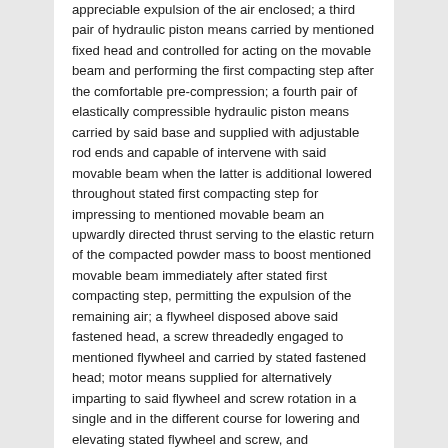appreciable expulsion of the air enclosed; a third pair of hydraulic piston means carried by mentioned fixed head and controlled for acting on the movable beam and performing the first compacting step after the comfortable pre-compression; a fourth pair of elastically compressible hydraulic piston means carried by said base and supplied with adjustable rod ends and capable of intervene with said movable beam when the latter is additional lowered throughout stated first compacting step for impressing to mentioned movable beam an upwardly directed thrust serving to the elastic return of the compacted powder mass to boost mentioned movable beam immediately after stated first compacting step, permitting the expulsion of the remaining air; a flywheel disposed above said fastened head, a screw threadedly engaged to mentioned flywheel and carried by stated fastened head; motor means supplied for alternatively imparting to said flywheel and screw rotation in a single and in the different course for lowering and elevating stated flywheel and screw, and management means for controlling mentioned motor means to operate stated flywheel and screw within the